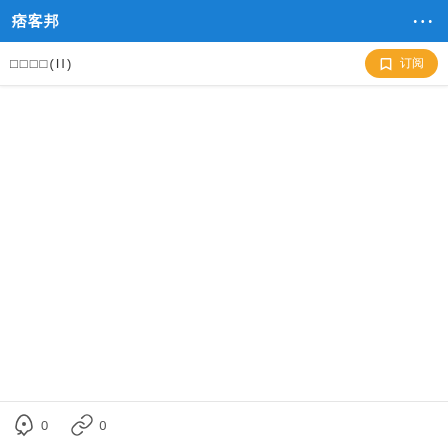痞客邦  ···
□□□□(II)  🔖 订阅
🚀 0  🔗 0